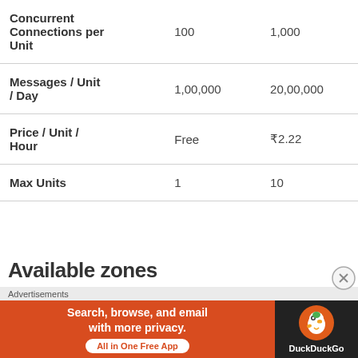|  | Free Tier | Paid Tier |
| --- | --- | --- |
| Concurrent Connections per Unit | 100 | 1,000 |
| Messages / Unit / Day | 1,00,000 | 20,00,000 |
| Price / Unit / Hour | Free | ₹2.22 |
| Max Units | 1 | 10 |
Available zones
Advertisements
[Figure (screenshot): DuckDuckGo advertisement banner: 'Search, browse, and email with more privacy. All in One Free App' with DuckDuckGo logo on dark background]